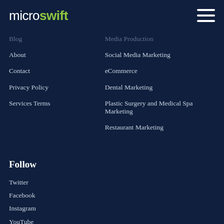microswift
Blog
Media Production
About
Social Media Marketing
Contact
eCommerce
Privacy Policy
Dental Marketing
Services Terms
Plastic Surgery and Medical Spa Marketing
Restaurant Marketing
Follow
Twitter
Facebook
Instagram
YouTube
Linkedin
Behance